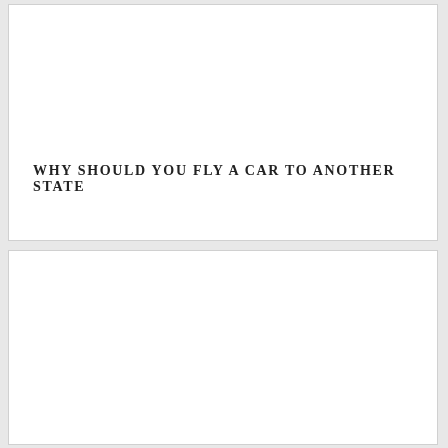WHY SHOULD YOU FLY A CAR TO ANOTHER STATE
[Figure (other): Yellow 'Get A Quote!' button widget positioned in the lower right of the second card section]